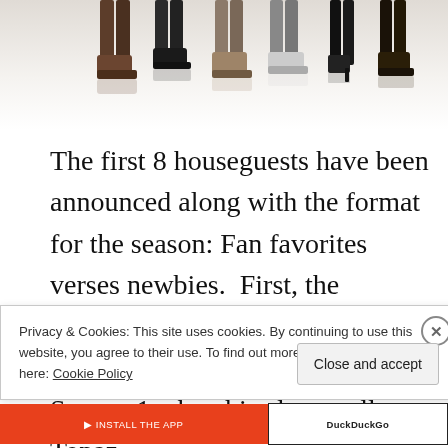[Figure (photo): Row of people shown from waist down, various shoes and boots visible, with reflections on white surface]
The first 8 houseguests have been announced along with the format for the season: Fan favorites verses newbies.  First, the veteran-players: Gary "Glitter" Levy was the runner-up in Season 1 when his closest ally Topaz
Privacy & Cookies: This site uses cookies. By continuing to use this website, you agree to their use. To find out more, including how to c see here: Cookie Policy
Close and accept